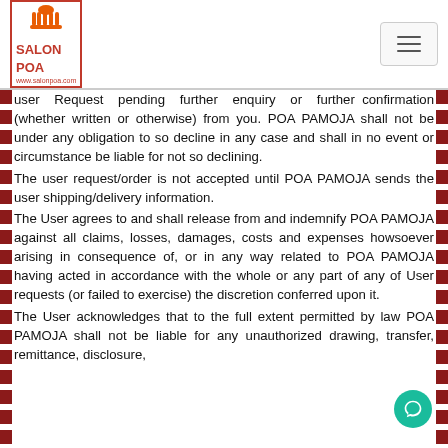Salon Poa — www.salonpoa.com
user Request pending further enquiry or further confirmation (whether written or otherwise) from you. POA PAMOJA shall not be under any obligation to so decline in any case and shall in no event or circumstance be liable for not so declining.
The user request/order is not accepted until POA PAMOJA sends the user shipping/delivery information.
The User agrees to and shall release from and indemnify POA PAMOJA against all claims, losses, damages, costs and expenses howsoever arising in consequence of, or in any way related to POA PAMOJA having acted in accordance with the whole or any part of any of User requests (or failed to exercise) the discretion conferred upon it.
The User acknowledges that to the full extent permitted by law POA PAMOJA shall not be liable for any unauthorized drawing, transfer, remittance, disclosure,